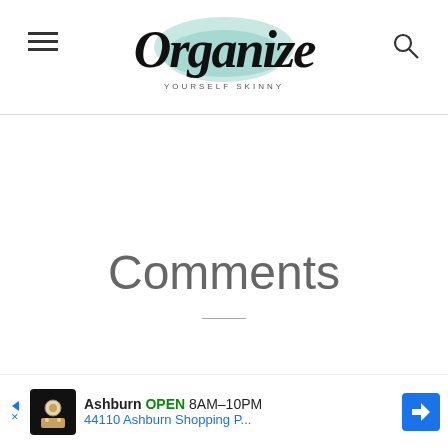Organize Yourself Skinny
Comments
[Figure (other): Advertisement bar: Ashburn OPEN 8AM-10PM, 44110 Ashburn Shopping P...]